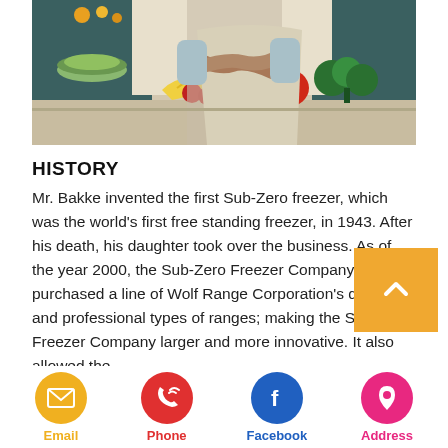[Figure (photo): Person in apron standing in kitchen with arms crossed, surrounded by colorful vegetables and fruits on counter]
HISTORY
Mr. Bakke invented the first Sub-Zero freezer, which was the world's first free standing freezer, in 1943. After his death, his daughter took over the business. As of the year 2000, the Sub-Zero Freezer Company purchased a line of Wolf Range Corporation's domestic and professional types of ranges; making the Sub-Zero Freezer Company larger and more innovative. It also allowed the
Email  Phone  Facebook  Address